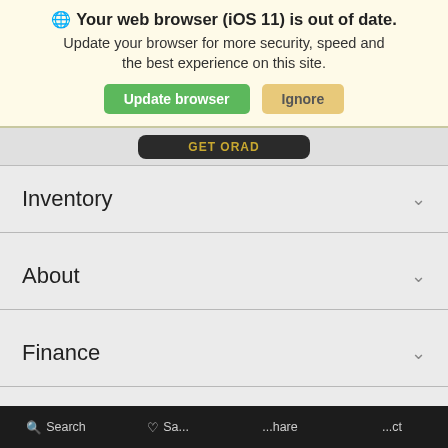🌐 Your web browser (iOS 11) is out of date. Update your browser for more security, speed and the best experience on this site. [Update browser] [Ignore]
[Figure (screenshot): Partially visible dark button at top of page content area]
Inventory ∨
About ∨
Finance ∨
Offers
Live Chat
Text Us
🔍 Search  ♡ Sa...  ...hare  ...ct